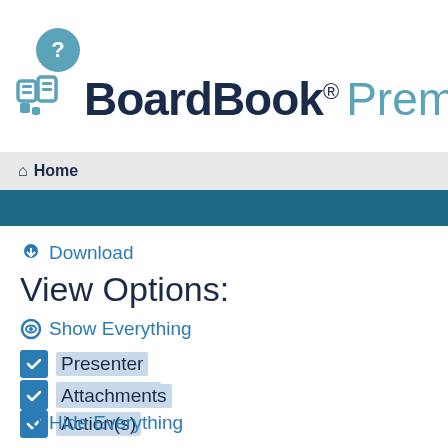[Figure (logo): Help icon - teal circle with white question mark]
[Figure (logo): BoardBook Premier logo with icon]
Home
Download
View Options:
Show Everything
Presenter
Description
Action(s)
Attachments
Hide Everything
September 17, 2014 at